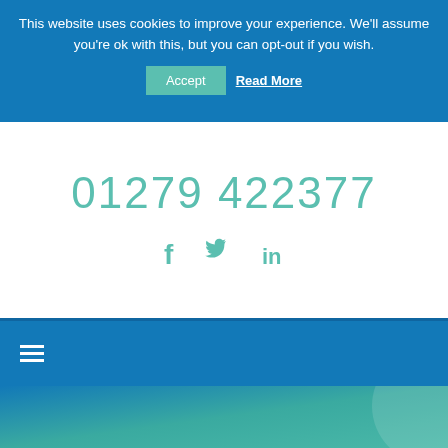This website uses cookies to improve your experience. We'll assume you're ok with this, but you can opt-out if you wish.
Accept  Read More
01279 422377
[Figure (illustration): Social media icons: Facebook (f), Twitter (bird), LinkedIn (in) in teal color]
[Figure (illustration): Hamburger menu icon (three horizontal lines) in white on blue navigation bar]
[Figure (illustration): Teal/blue gradient background section with circular decorative element in bottom right corner]